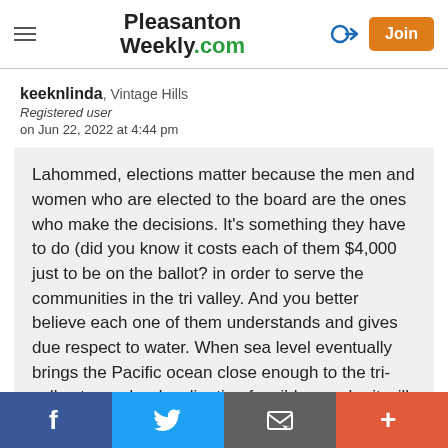Pleasanton Weekly.com
keeknlinda, Vintage Hills
Registered user
on Jun 22, 2022 at 4:44 pm
Lahommed, elections matter because the men and women who are elected to the board are the ones who make the decisions. It's something they have to do (did you know it costs each of them $4,000 just to be on the ballot? in order to serve the communities in the tri valley. And you better believe each one of them understands and gives due respect to water. When sea level eventually brings the Pacific ocean close enough to the tri-valley to render desalination feasible, maybe it will happen.
Facebook | Twitter | Email | More